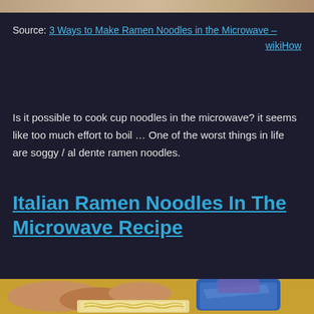[Figure (photo): Top portion of a food/ramen image, partially cropped at the top edge of the page]
Source: 3 Ways to Make Ramen Noodles in the Microwave – wikiHow
Is it possible to cook cup noodles in the microwave? it seems like too much effort to boil … One of the worst things in life are soggy / al dente ramen noodles.
Italian Ramen Noodles In The Microwave Recipe
[Figure (photo): Hands opening a package of ramen noodles on a yellow surface, showing the dry noodle block being removed from blue packaging]